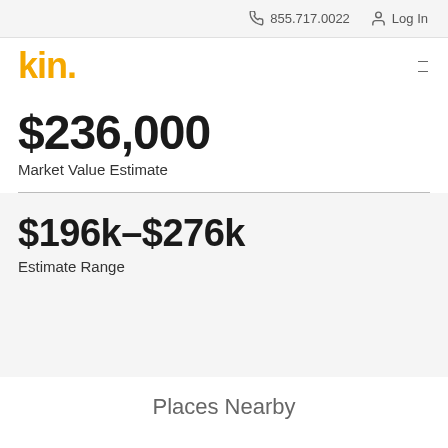855.717.0022  Log In
[Figure (logo): kin. logo in yellow/orange with hamburger menu icon]
$236,000
Market Value Estimate
$196k–$276k
Estimate Range
Places Nearby